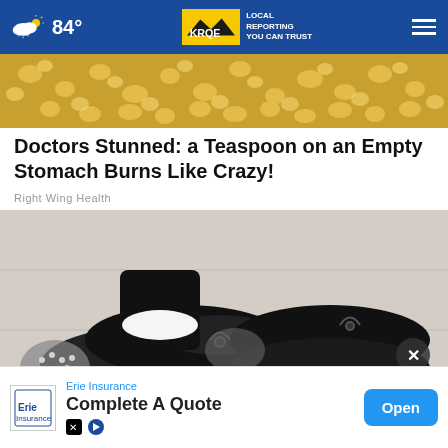84° KRQE LOCAL REPORTING YOU CAN TRUST
[Figure (photo): Close-up of popcorn in a bowl, golden yellow, fills the frame]
Doctors Stunned: a Teaspoon on an Empty Stomach Burns Like Crazy!
Right Wing Health
[Figure (photo): Close-up photo of a person wearing black athletic sneakers with white soles and rhinestone accents on the heel, on a white wood background]
[Figure (other): Erie Insurance advertisement: 'Complete A Quote' with Open button]